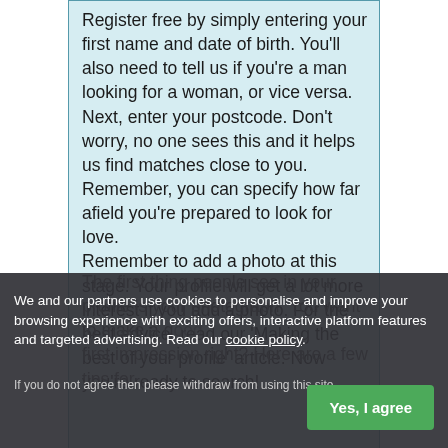Register free by simply entering your first name and date of birth. You'll also need to tell us if you're a man looking for a woman, or vice versa. Next, enter your postcode. Don't worry, no one sees this and it helps us find matches close to you. Remember, you can specify how far afield you're prepared to look for love.
Remember to add a photo at this stage. Your profile will get a lot more interest if you add a photo. For the best advice, read our 'Making the best of your profile' article. Now you're ready to search!
We and our partners use cookies to personalise and improve your browsing experience with exciting offers, interactive platform features and targeted advertising. Read our cookie policy.
If you do not agree then please withdraw from using this site.
The first thing people see in your profile is your photograph. You want to make a good first impression right? Here are a few tips for